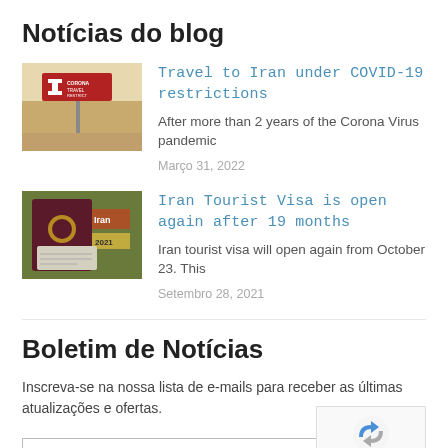Notícias do blog
[Figure (photo): Thumbnail photo of airport COVID travel restrictions sign with a white cross on red background and 'CORONA TRAVEL RESTRICT' text]
Travel to Iran under COVID-19 restrictions
After more than 2 years of the Corona Virus pandemic
Março 31, 2022
[Figure (photo): Thumbnail photo of an Iranian passport and travel documents]
Iran Tourist Visa is open again after 19 months
Iran tourist visa will open again from October 23. This
Setembro 28, 2021
Boletim de Notícias
Inscreva-se na nossa lista de e-mails para receber as últimas atualizações e ofertas.
seu email